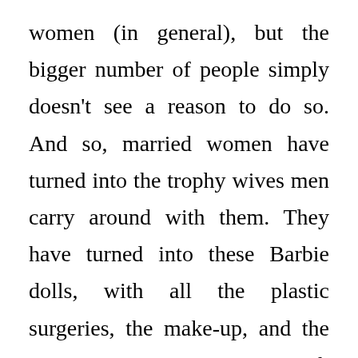women (in general), but the bigger number of people simply doesn't see a reason to do so. And so, married women have turned into the trophy wives men carry around with them. They have turned into these Barbie dolls, with all the plastic surgeries, the make-up, and the over compensation with materialistic items. And again to my surprise, married women have become the peak of sexual conversations. If a young man is friends with a married woman, it is considered acceptable for him to...